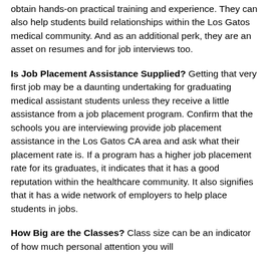obtain hands-on practical training and experience. They can also help students build relationships within the Los Gatos medical community. And as an additional perk, they are an asset on resumes and for job interviews too.
Is Job Placement Assistance Supplied? Getting that very first job may be a daunting undertaking for graduating medical assistant students unless they receive a little assistance from a job placement program. Confirm that the schools you are interviewing provide job placement assistance in the Los Gatos CA area and ask what their placement rate is. If a program has a higher job placement rate for its graduates, it indicates that it has a good reputation within the healthcare community. It also signifies that it has a wide network of employers to help place students in jobs.
How Big are the Classes? Class size can be an indicator of how much personal attention you will